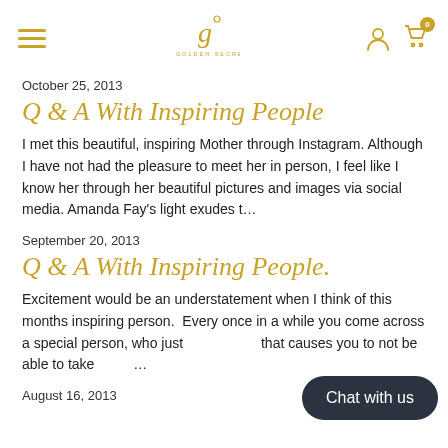THE GOLDEN SECRETS
October 25, 2013
Q & A With Inspiring People
I met this beautiful, inspiring Mother through Instagram. Although I have not had the pleasure to meet her in person, I feel like I know her through her beautiful pictures and images via social media. Amanda Fay's light exudes t…
September 20, 2013
Q & A With Inspiring People.
Excitement would be an understatement when I think of this months inspiring person.  Every once in a while you come across a special person, who just                    that causes you to not be able to take                …
August 16, 2013